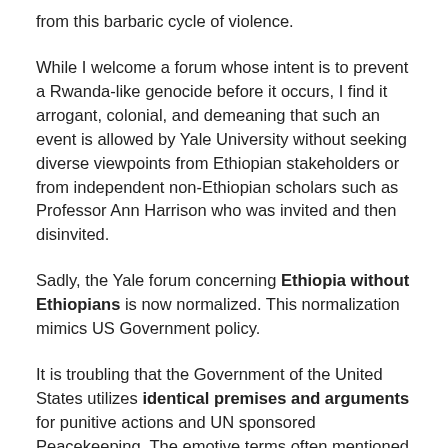from this barbaric cycle of violence.
While I welcome a forum whose intent is to prevent a Rwanda-like genocide before it occurs, I find it arrogant, colonial, and demeaning that such an event is allowed by Yale University without seeking diverse viewpoints from Ethiopian stakeholders or from independent non-Ethiopian scholars such as Professor Ann Harrison who was invited and then disinvited.
Sadly, the Yale forum concerning Ethiopia without Ethiopians is now normalized. This normalization mimics US Government policy.
It is troubling that the Government of the United States utilizes identical premises and arguments for punitive actions and UN sponsored Peacekeeping. The emotive terms often mentioned are human rights violations, ethnic cleansing, genocide, famine, war crimes and massacres of civilians. The US and its NATO allies offered these terms to